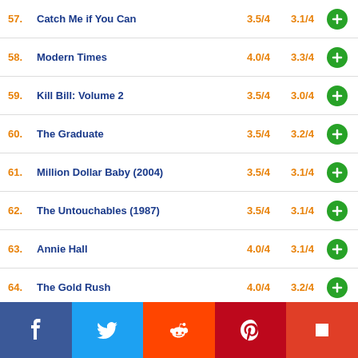57. Catch Me if You Can — 3.5/4 — 3.1/4
58. Modern Times — 4.0/4 — 3.3/4
59. Kill Bill: Volume 2 — 3.5/4 — 3.0/4
60. The Graduate — 3.5/4 — 3.2/4
61. Million Dollar Baby (2004) — 3.5/4 — 3.1/4
62. The Untouchables (1987) — 3.5/4 — 3.1/4
63. Annie Hall — 4.0/4 — 3.1/4
64. The Gold Rush — 4.0/4 — 3.2/4
65. Toy Story 2 — 4.0/4 — 3.1/4
66. Dances with Wolves — 4.0/4 — 3.1/4
[Figure (infographic): Social sharing bar with Facebook, Twitter, Reddit, Pinterest, Flipboard icons]